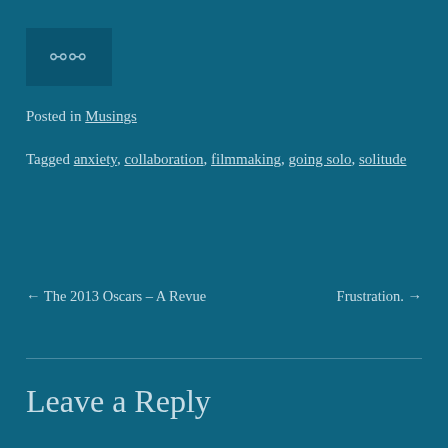[Figure (other): Share/link icon button in a dark teal box]
Posted in Musings
Tagged anxiety, collaboration, filmmaking, going solo, solitude
← The 2013 Oscars – A Revue
Frustration. →
Leave a Reply